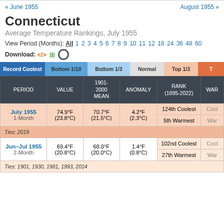« June 1955   August 1955 »
Connecticut
Average Temperature Rankings, July 1955
View Period (Months): All 1 2 3 4 5 6 7 8 9 10 11 12 18 24 36 48 60
Download: </> [xls icon] [circle icon]
| PERIOD | VALUE | 1901-2000 MEAN | ANOMALY | RANK (1895-2022) | WAR... |
| --- | --- | --- | --- | --- | --- |
| July 1955
1-Month | 74.9°F
(23.8°C) | 70.7°F
(21.5°C) | 4.2°F
(2.3°C) | 124th Coolest | Cool... |
|  |  |  |  | 5th Warmest | War... |
| Ties: 2019 |  |  |  |  |  |
| Jun–Jul 1955
2-Month | 69.4°F
(20.8°C) | 68.0°F
(20.0°C) | 1.4°F
(0.8°C) | 102nd Coolest | Cool... |
|  |  |  |  | 27th Warmest | War... |
| Ties: 1901, 1930, 1981, 1993, 2014 |  |  |  |  |  |